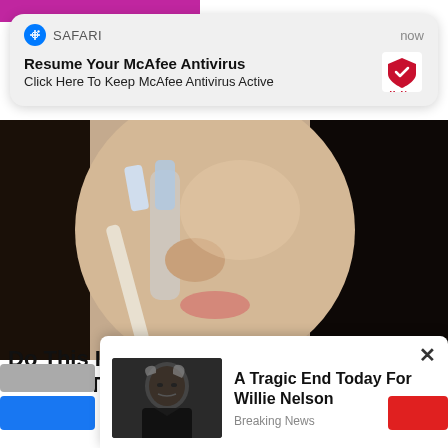[Figure (screenshot): Purple tab bar partially visible at top of browser]
[Figure (screenshot): Safari browser push notification overlay: 'Resume Your McAfee Antivirus / Click Here To Keep McAfee Antivirus Active' with McAfee logo, timestamp 'now']
[Figure (photo): Woman applying toothbrush to nose/skin area, close-up beauty/skincare photo]
Do This Immediately if You Have Moles or Skin Tags, It's Genius
Smart
[Figure (screenshot): Pop-up ad with close X button showing elderly man photo (Willie Nelson) with text 'A Tragic End Today For Willie Nelson / Breaking News']